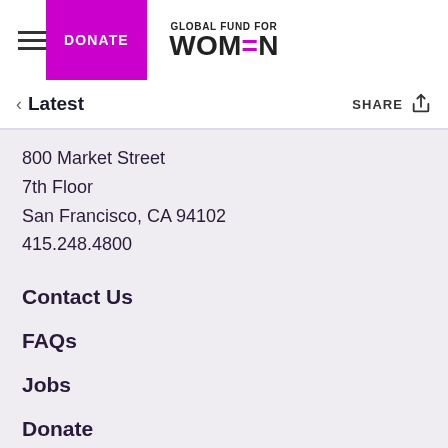Global Fund for Women | DONATE
< Latest | SHARE
800 Market Street
7th Floor
San Francisco, CA 94102
415.248.4800
Contact Us
FAQs
Jobs
Donate
Media Room